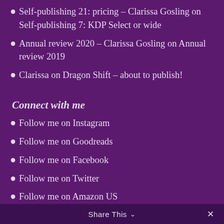Self-publishing 21: pricing – Clarissa Gosling on Self-publishing 7: KDP Select or wide
Annual review 2020 – Clarissa Gosling on Annual review 2019
Clarissa on Dragon Shift – about to publish!
Connect with me
Follow me on Instagram
Follow me on Goodreads
Follow me on Facebook
Follow me on Twitter
Follow me on Amazon US
Follow me on Amazon UK
Follow me on Bookbub
Share This ∨  ✕